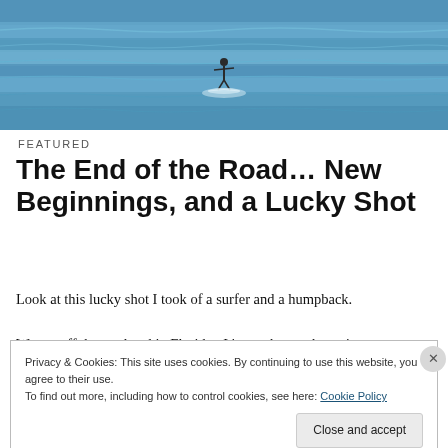[Figure (photo): Photo of a surfer on the ocean with blue-green water, taken from a distance. The surfer appears small, centered in the frame, with rippled water visible around them.]
FEATURED
The End of the Road... New Beginnings, and a Lucky Shot
Look at this lucky shot I took of a surfer and a humpback.

We are off the road and in Florida.  It's not that we haven't
Privacy & Cookies: This site uses cookies. By continuing to use this website, you agree to their use.
To find out more, including how to control cookies, see here: Cookie Policy
Close and accept